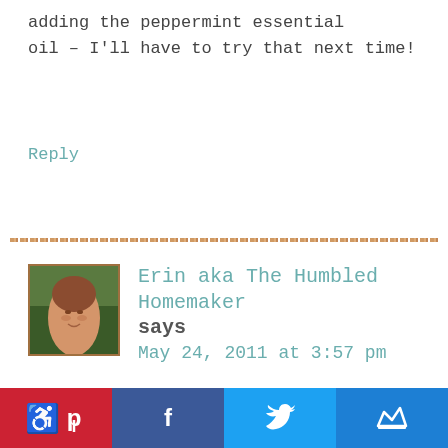adding the peppermint essential oil – I'll have to try that next time!
Reply
Erin aka The Humbled Homemaker says
May 24, 2011 at 3:57 pm
I had bookmarked this post and had wanted